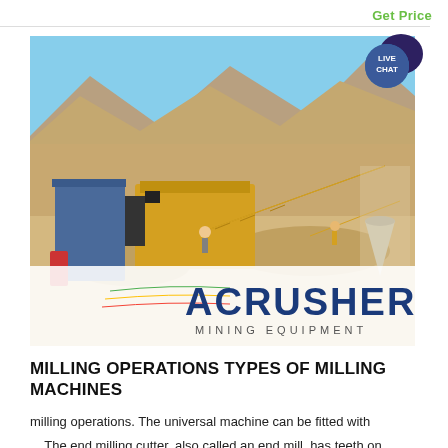Get Price
[Figure (photo): Outdoor mining/crushing plant with yellow conveyor belts and machinery set against arid mountain terrain. Workers visible near the equipment. ACRUSHER MINING EQUIPMENT logo overlaid at the bottom of the image.]
MILLING OPERATIONS TYPES OF MILLING MACHINES
milling operations. The universal machine can be fitted with ... The end milling cutter, also called an end mill, has teeth on